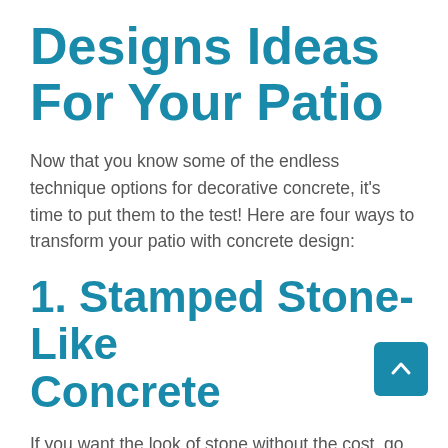Designs Ideas For Your Patio
Now that you know some of the endless technique options for decorative concrete, it's time to put them to the test! Here are four ways to transform your patio with concrete design:
1. Stamped Stone-Like Concrete
If you want the look of stone without the cost, go with concrete. Not only is concrete a